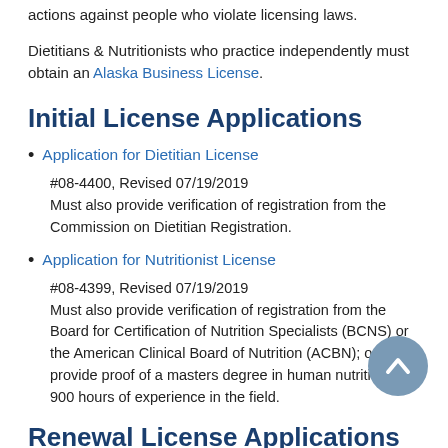actions against people who violate licensing laws.
Dietitians & Nutritionists who practice independently must obtain an Alaska Business License.
Initial License Applications
Application for Dietitian License
#08-4400, Revised 07/19/2019
Must also provide verification of registration from the Commission on Dietitian Registration.
Application for Nutritionist License
#08-4399, Revised 07/19/2019
Must also provide verification of registration from the Board for Certification of Nutrition Specialists (BCNS) or the American Clinical Board of Nutrition (ACBN); or provide proof of a masters degree in human nutrition and 900 hours of experience in the field.
Renewal License Applications